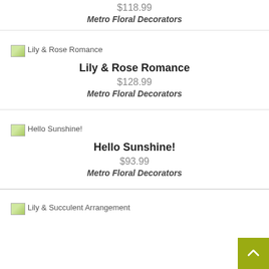$118.99
Metro Floral Decorators
[Figure (photo): Broken/missing image placeholder for Lily & Rose Romance]
Lily & Rose Romance
$128.99
Metro Floral Decorators
[Figure (photo): Broken/missing image placeholder for Hello Sunshine!]
Hello Sunshine!
$93.99
Metro Floral Decorators
[Figure (photo): Broken/missing image placeholder for Lily & Succulent Arrangement]